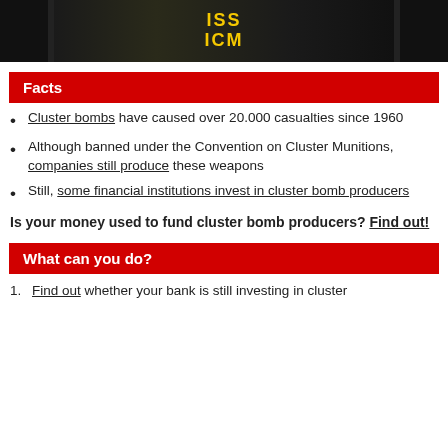[Figure (photo): Photo strip showing ICM text in yellow on dark background, partial image of cluster munitions]
Facts
Cluster bombs have caused over 20.000 casualties since 1960
Although banned under the Convention on Cluster Munitions, companies still produce these weapons
Still, some financial institutions invest in cluster bomb producers
Is your money used to fund cluster bomb producers? Find out!
What can you do?
Find out whether your bank is still investing in cluster